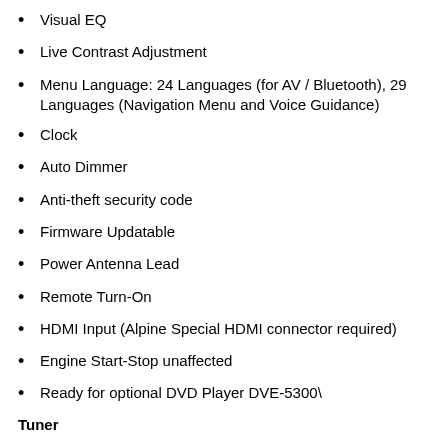Visual EQ
Live Contrast Adjustment
Menu Language: 24 Languages (for AV / Bluetooth), 29 Languages (Navigation Menu and Voice Guidance)
Clock
Auto Dimmer
Anti-theft security code
Firmware Updatable
Power Antenna Lead
Remote Turn-On
HDMI Input (Alpine Special HDMI connector required)
Engine Start-Stop unaffected
Ready for optional DVD Player DVE-5300\
Tuner